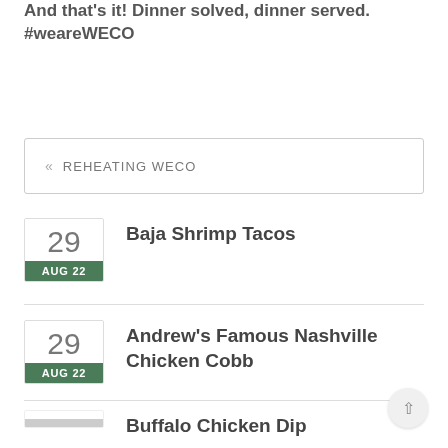And that's it! Dinner solved, dinner served. #weareWECO
« REHEATING WECO
29 AUG 22 — Baja Shrimp Tacos
29 AUG 22 — Andrew's Famous Nashville Chicken Cobb
Buffalo Chicken Dip